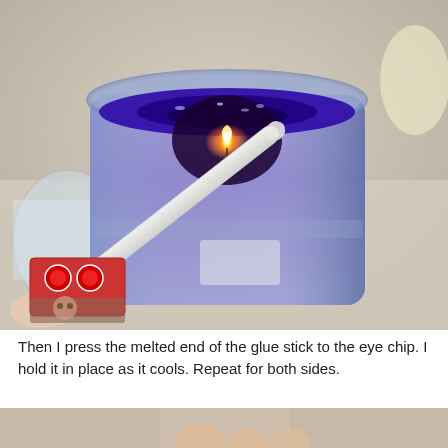[Figure (photo): A purple jar candle burning, with a white glue stick being held diagonally over the flame to melt its end. A matchbox and a small photograph are visible in the foreground on a light-colored surface.]
Then I press the melted end of the glue stick to the eye chip. I hold it in place as it cools. Repeat for both sides.
[Figure (photo): Partial view of hands or fingers visible at the bottom of the page, cropped.]